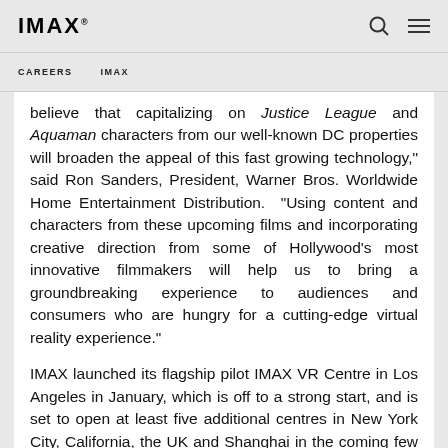IMAX
CAREERS  IMAX
believe that capitalizing on Justice League and Aquaman characters from our well-known DC properties will broaden the appeal of this fast growing technology," said Ron Sanders, President, Warner Bros. Worldwide Home Entertainment Distribution. "Using content and characters from these upcoming films and incorporating creative direction from some of Hollywood's most innovative filmmakers will help us to bring a groundbreaking experience to audiences and consumers who are hungry for a cutting-edge virtual reality experience."
IMAX launched its flagship pilot IMAX VR Centre in Los Angeles in January, which is off to a strong start, and is set to open at least five additional centres in New York City, California, the UK and Shanghai in the coming few months. IMAX plans to